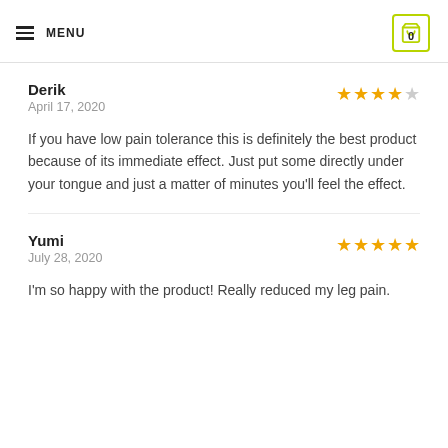MENU | 0
Derik
April 17, 2020
★★★★☆
If you have low pain tolerance this is definitely the best product because of its immediate effect. Just put some directly under your tongue and just a matter of minutes you'll feel the effect.
Yumi
July 28, 2020
★★★★★
I'm so happy with the product! Really reduced my leg pain.